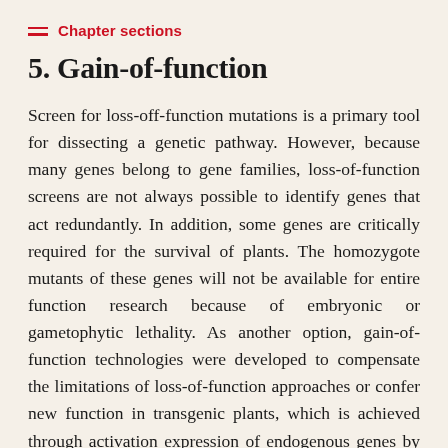Chapter sections
5. Gain-of-function
Screen for loss-off-function mutations is a primary tool for dissecting a genetic pathway. However, because many genes belong to gene families, loss-of-function screens are not always possible to identify genes that act redundantly. In addition, some genes are critically required for the survival of plants. The homozygote mutants of these genes will not be available for entire function research because of embryonic or gametophytic lethality. As another option, gain-of-function technologies were developed to compensate the limitations of loss-of-function approaches or confer new function in transgenic plants, which is achieved through activation expression of endogenous genes by transcription enhancer which is randomly